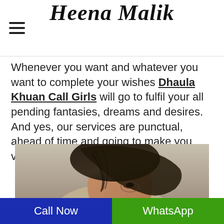Heena Malik
Whenever you want and whatever you want to complete your wishes Dhaula Khuan Call Girls will go to fulfil your all pending fantasies, dreams and desires. And yes, our services are punctual, ahead of time and going to make you value for money.
[Figure (photo): Close-up photo of a woman with dark hair partially covering her face]
Call Now
WhatsApp